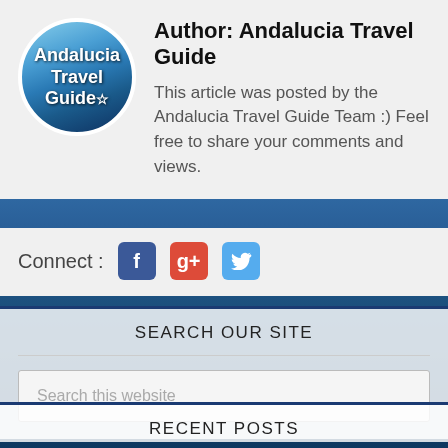[Figure (illustration): Circular avatar logo with text 'Andalucia Travel Guide' and a star, showing ocean/beach background]
Author: Andalucia Travel Guide
This article was posted by the Andalucia Travel Guide Team :) Feel free to share your comments and views.
Connect : [Facebook icon] [Google+ icon] [Twitter icon]
SEARCH OUR SITE
Search this website
RECENT POSTS